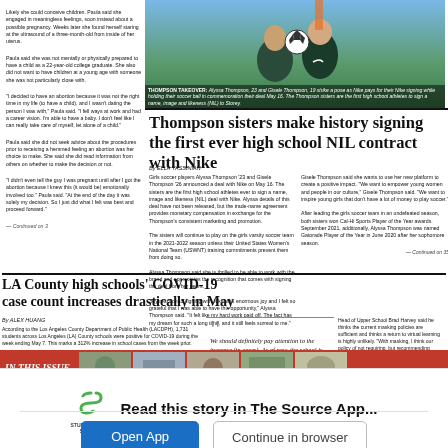[Figure (photo): Two women (Thompson sisters) posing with a soccer ball, holding a Nike shoe between them outdoors on a soccer field]
THOMPSON TAKEOVER: Alyssa Thompson, 23 and Gisele Thompson, 19 strike a pose as Nike pays for their Nike signing while holding their soccer ball in commemoration their deal May 16. The Thompson sisters are the first high school athletes to sign a name, image and likeness (NIL) to Storey.
Likely she could conceive children. Paula said she engaged in meaningless feelings, soon instead about a possible pregnancy. Weeks later she found herself staring at the ultrasound of a three-month-old from inside of her uterus. Paula said she was not mentally or physically prepared to have a child as a 22-year-old college graduate. She also did not want to have children at a young age with someone she was not particularly close with. "I decided to have an abortion because it was not the right time in my life (to have a child), and I wasn't dating the person I was with," Paula said. "I fell ways at work and had a career vision. I'm able to have a baby. I don't feel like I can really take care of myself, let alone of a child." Paula said she did not seek advice about the procedures prior to receiving a hemmed feeling an abortion was her choice to make. She said she did read information from others on whether to make the decision or not. "I didn't even tell the guy I was pregnant until after I got the abortion because I knew this (it would be) emotionally involved too." Paula said. "At the end of the day it was solely my decision. So I just did what I felt was best and proceed forward."
Thompson sisters make history signing the first ever high school NIL contract with Nike
By ELLA YASSINIAN

Girls soccer players Alyssa Thompson '23 and Gisele Thompson '26 announced a deal with Nike on May 16. The sisters are the first high school athletes ever to sign a name, image and likeness (NIL) deal with Nike. Alyssa details of this deal have not been released, but the trade-name agreement provides monetary compensation in exchange for the Thompson's consistent marketing and promotion.

The sisters will continue to play on the girls varsity soccer team in the 2021-2022 season unless their United States Women's National Team (USWNT) training commitments prevent them from doing so.

Alyssa Thompson said she is thrilled to be able to work with the brand and appreciates the recognition that comes with signing the deal from her peers.

"My reaction to signing with Nike was enormous joy and I felt so grateful that I was able to have this opportunity," Alyssa Thompson said. "It felt like my hard work paid off. The fact has my dream for such a long time, and it still feels surreal to me."

Gisele Thompson said she wants to use her new platform to create a positive impact. "We want to empower young women and people in our culture," Gisele Thompson said. "We want to inspire young girls that don't have a lot of money to play soccer."

After leading the girls soccer team in an undefeated season, both sisters won Cal-Hi Sports Player of the Year awards. September 2021, additionally, Alyssa Thompson was named Gatorade Player of the Year in June 2020 after her sophomore season.
LA County high schools' COVID-19 case count increases drastically in May
By ALEX HUANG

According to the Los Angeles County Department of Public Health (LACDPH), 1,731 students across Los Angeles (LA) County schools were positive for COVID-19 during the week ending May 7. This marks a 312% increase in school cases from the week prior.
Schools were ordered to close during the week ending May 7. For district-level hospitalizations remained low across the county according to the department.

Head of Communications and Strategic Initiatives Art Engelberg '89 said the soaring case count has not restarted any policy changes at the school.

"We should definitely pay attention to the increase (in cases), but I wouldn't panic about it," Engelberg said. "At of now the school is not planning to reinstate the mask mandate on campus. However, as missions rise (are on a daily basis), looking for increasing trends in our own school community, and we reserve the right to reinstate the mask mandate at any time."
Head of Upper School Brad Harvey said he thinks the current masking policies are sufficient and thinks a return to virtual learning is highly unlikely. "With masking, I think our policy of not requiring, but recommending (masks), remains good since anyone who is especially concerned can choose to protect themselves," Harvey said. "At this point, we have no plans to return to online instruction."
"We should definitely pay attention to the increase (in cases). As of now, the school is not planning to reinstate the mask mandate on campus."
— Art Engelberg '89
Head of Communications
[Figure (photo): Headshot of Art Engelberg '89]
[Figure (photo): IN THIS ISSUE thumbnail strip showing multiple smaller photos]
Read this story in The Source App...
Open App
Continue in browser